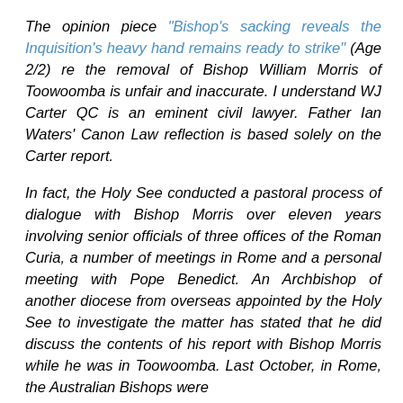The opinion piece “Bishop’s sacking reveals the Inquisition’s heavy hand remains ready to strike” (Age 2/2) re the removal of Bishop William Morris of Toowoomba is unfair and inaccurate. I understand WJ Carter QC is an eminent civil lawyer. Father Ian Waters’ Canon Law reflection is based solely on the Carter report.
In fact, the Holy See conducted a pastoral process of dialogue with Bishop Morris over eleven years involving senior officials of three offices of the Roman Curia, a number of meetings in Rome and a personal meeting with Pope Benedict. An Archbishop of another diocese from overseas appointed by the Holy See to investigate the matter has stated that he did discuss the contents of his report with Bishop Morris while he was in Toowoomba. Last October, in Rome, the Australian Bishops were